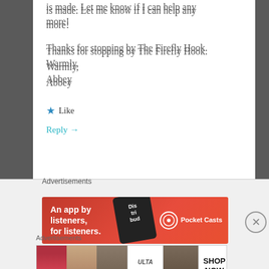is made. Let me know if I can help any more!
Thanks for stopping by The Firefly Hook.
Warmly,
Abbey
★ Like
Reply →
Advertisements
[Figure (infographic): Pocket Casts advertisement banner: red background with phone device showing 'Dis tri bud' text, white text reading 'An app by listeners, for listeners.' with Pocket Casts logo on right]
REPORT THIS AD
Advertisements
[Figure (infographic): Ulta Beauty advertisement strip showing cosmetic images: lips with brush, eye with brush, Ulta logo, eye makeup, and SHOP NOW button]